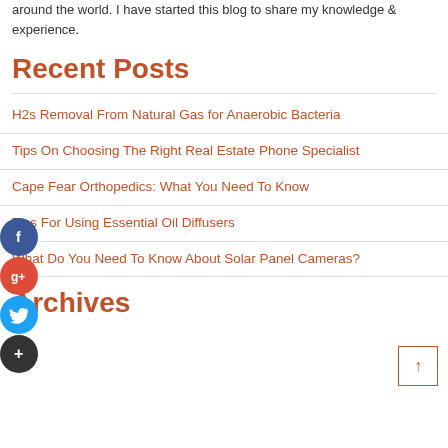around the world. I have started this blog to share my knowledge & experience.
Recent Posts
H2s Removal From Natural Gas for Anaerobic Bacteria
Tips On Choosing The Right Real Estate Phone Specialist
Cape Fear Orthopedics: What You Need To Know
Tips For Using Essential Oil Diffusers
What Do You Need To Know About Solar Panel Cameras?
Archives